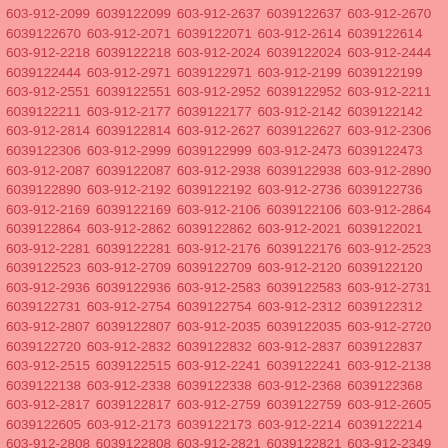603-912-2099 6039122099 603-912-2637 6039122637 603-912-2670 6039122670 603-912-2071 6039122071 603-912-2614 6039122614 603-912-2218 6039122218 603-912-2024 6039122024 603-912-2444 6039122444 603-912-2971 6039122971 603-912-2199 6039122199 603-912-2551 6039122551 603-912-2952 6039122952 603-912-2211 6039122211 603-912-2177 6039122177 603-912-2142 6039122142 603-912-2814 6039122814 603-912-2627 6039122627 603-912-2306 6039122306 603-912-2999 6039122999 603-912-2473 6039122473 603-912-2087 6039122087 603-912-2938 6039122938 603-912-2890 6039122890 603-912-2192 6039122192 603-912-2736 6039122736 603-912-2169 6039122169 603-912-2106 6039122106 603-912-2864 6039122864 603-912-2862 6039122862 603-912-2021 6039122021 603-912-2281 6039122281 603-912-2176 6039122176 603-912-2523 6039122523 603-912-2709 6039122709 603-912-2120 6039122120 603-912-2936 6039122936 603-912-2583 6039122583 603-912-2731 6039122731 603-912-2754 6039122754 603-912-2312 6039122312 603-912-2807 6039122807 603-912-2035 6039122035 603-912-2720 6039122720 603-912-2832 6039122832 603-912-2837 6039122837 603-912-2515 6039122515 603-912-2241 6039122241 603-912-2138 6039122138 603-912-2338 6039122338 603-912-2368 6039122368 603-912-2817 6039122817 603-912-2759 6039122759 603-912-2605 6039122605 603-912-2173 6039122173 603-912-2214 6039122214 603-912-2808 6039122808 603-912-2821 6039122821 603-912-2349 6039122349 603-912-2632 6039122632 603-912-2735 6039122735 603-912-2343